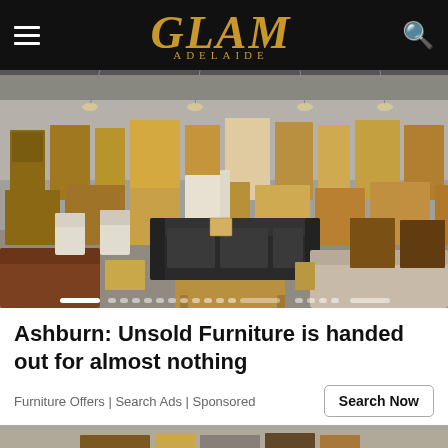GLAM ADELAIDE
[Figure (photo): Warehouse showroom filled with wooden furniture including tables, chairs, bookshelves, sofas, and various other furniture pieces arranged in rows]
Ashburn: Unsold Furniture is handed out for almost nothing
Furniture Offers | Search Ads | Sponsored
[Figure (photo): Partial bottom strip of another image, partially cut off]